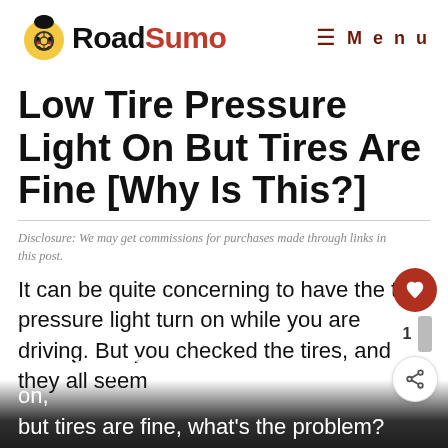RoadSumo — Menu
Low Tire Pressure Light On But Tires Are Fine [Why Is This?]
Disclosure: We may get commissions for purchases made through links in this post.
It can be quite concerning to have the tire pressure light turn on while you are driving. But you checked the tires, and they all seem to be okay. If the low tire pressure light is on, but tires are fine, what's the problem?